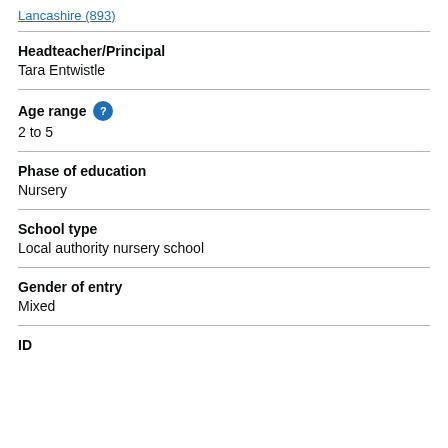Lancashire (893)
Headteacher/Principal
Tara Entwistle
Age range
2 to 5
Phase of education
Nursery
School type
Local authority nursery school
Gender of entry
Mixed
ID